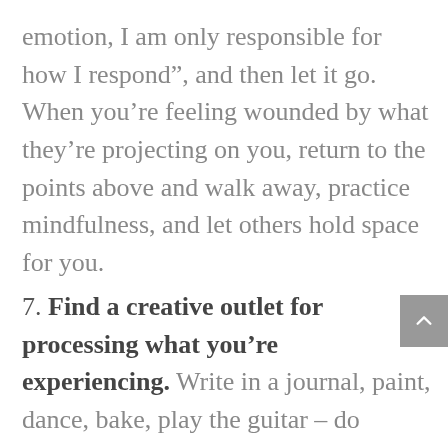emotion, I am only responsible for how I respond”, and then let it go. When you’re feeling wounded by what they’re projecting on you, return to the points above and walk away, practice mindfulness, and let others hold space for you.
7. Find a creative outlet for processing what you’re experiencing. Write in a journal, paint, dance, bake, play the guitar – do whatever replenishes your soul. Few things are as healing as time